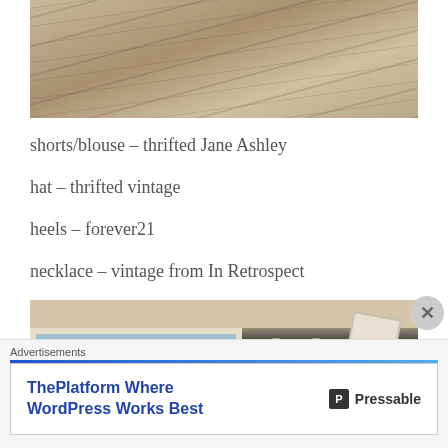[Figure (photo): Cropped photo of weathered wooden planks/deck boards shot from above, showing aged grey wood grain texture]
shorts/blouse – thrifted Jane Ashley
hat – thrifted vintage
heels – forever21
necklace – vintage from In Retrospect
[Figure (photo): Partial interior photo showing ceiling area with light fixture (two round globe lights), wall-mounted box, dark wall, and white window frame below]
Advertisements
[Figure (other): Advertisement for Pressable: 'ThePlatform Where WordPress Works Best' with Pressable logo]